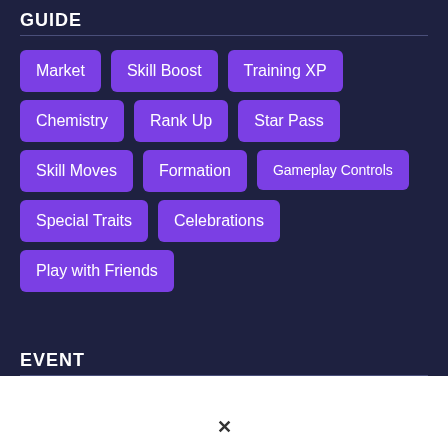GUIDE
Market
Skill Boost
Training XP
Chemistry
Rank Up
Star Pass
Skill Moves
Formation
Gameplay Controls
Special Traits
Celebrations
Play with Friends
EVENT